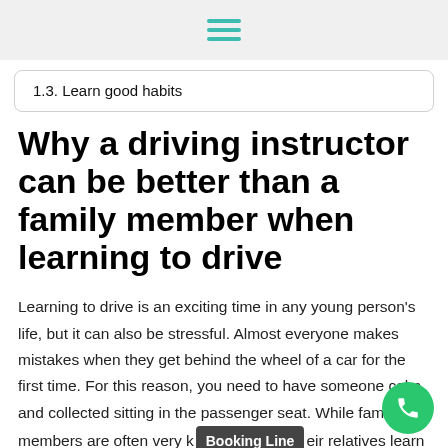☰ (hamburger menu icon)
1.3. Learn good habits
Why a driving instructor can be better than a family member when learning to drive
Learning to drive is an exciting time in any young person's life, but it can also be stressful. Almost everyone makes mistakes when they get behind the wheel of a car for the first time. For this reason, you need to have someone calm and collected sitting in the passenger seat. While family members are often very k [Booking Line] eir relatives learn to drive, they might not actually be the best people for